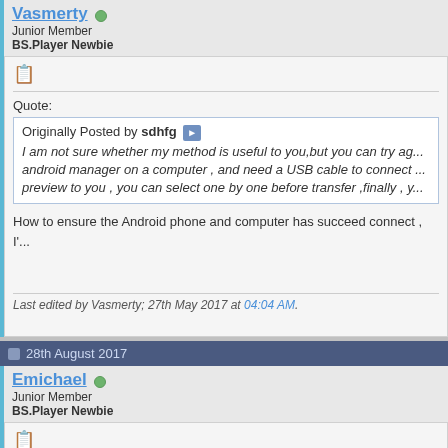Vasmerty
Junior Member
BS.Player Newbie
Quote:
Originally Posted by sdhfg
I am not sure whether my method is useful to you,but you can try ag... android manager on a computer , and need a USB cable to connect ... preview to you , you can select one by one before transfer ,finally , y...
How to ensure the Android phone and computer has succeed connect , I'...
Last edited by Vasmerty; 27th May 2017 at 04:04 AM.
28th August 2017
Emichael
Junior Member
BS.Player Newbie